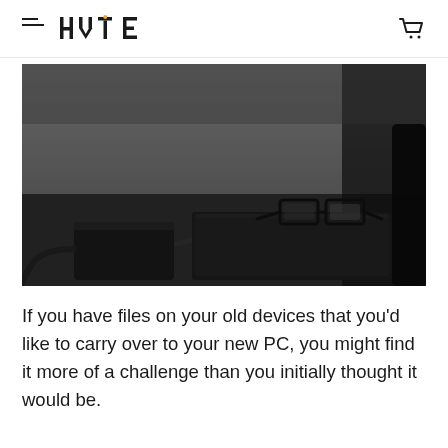HYTE
[Figure (photo): Dark moody monochrome photo of a desk with an external hard drive with cable, a closed laptop or notebook, and a pair of glasses resting on top of the notebook.]
If you have files on your old devices that you'd like to carry over to your new PC, you might find it more of a challenge than you initially thought it would be.